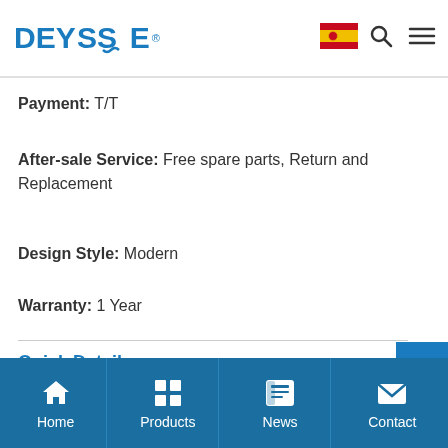DEYSSE (logo with registered trademark, Spanish flag, search and menu icons)
Payment: T/T
After-sale Service: Free spare parts, Return and Replacement
Design Style: Modern
Warranty: 1 Year
Quick Details
Supply Ability: 50000 Piece/Pieces per Month
Home | Products | News | Contact